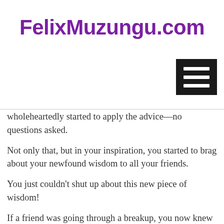FelixMuzungu.com
[Figure (other): Hamburger menu icon (three horizontal white lines on black background)]
wholeheartedly started to apply the advice—no questions asked.
Not only that, but in your inspiration, you started to brag about your newfound wisdom to all your friends.
You just couldn’t shut up about this new piece of wisdom!
If a friend was going through a breakup, you now knew just what to say.
If a friend was complaining about an annoying person, again, you now knew just what to say.
The piece of wisdom seemed perfect not just for every situation, but also for everyone!
Well, at least you believed this to be true.